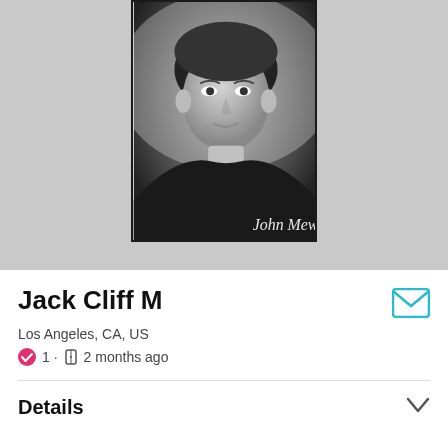[Figure (photo): Black and white portrait photo of a young man, with watermark text 'John Mews' in the lower right corner]
Jack Cliff M
Los Angeles, CA, US
1 · 2 months ago
Details